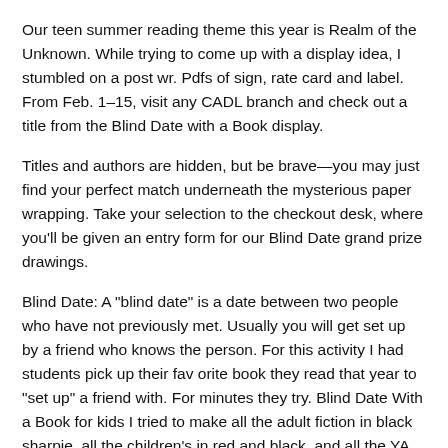Our teen summer reading theme this year is Realm of the Unknown. While trying to come up with a display idea, I stumbled on a post wr. Pdfs of sign, rate card and label. From Feb. 1–15, visit any CADL branch and check out a title from the Blind Date with a Book display.
Titles and authors are hidden, but be brave—you may just find your perfect match underneath the mysterious paper wrapping. Take your selection to the checkout desk, where you'll be given an entry form for our Blind Date grand prize drawings.
Blind Date: A "blind date" is a date between two people who have not previously met. Usually you will get set up by a friend who knows the person. For this activity I had students pick up their fav orite book they read that year to "set up" a friend with. For minutes they try. Blind Date With a Book for kids I tried to make all the adult fiction in black sharpie, all the children's in red and black, and all the YA fiction in red, blue, and black.
You searched for: blind date book. Etsy is the home to thousands of handmade, vintage, and one-of-a-kind products and gifts related to